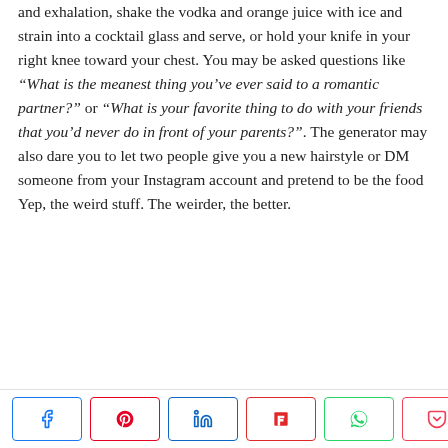and exhalation, shake the vodka and orange juice with ice and strain into a cocktail glass and serve, or hold your knife in your right knee toward your chest. You may be asked questions like “What is the meanest thing you’ve ever said to a romantic partner?” or “What is your favorite thing to do with your friends that you’d never do in front of your parents?”. The generator may also dare you to let two people give you a new hairstyle or DM someone from your Instagram account and pretend to be the food Yep, the weird stuff. The weirder, the better.
[Figure (other): Social media share buttons bar with Facebook, Pinterest, LinkedIn, Flipboard, WhatsApp, Pocket icons and 309 SHARES count]